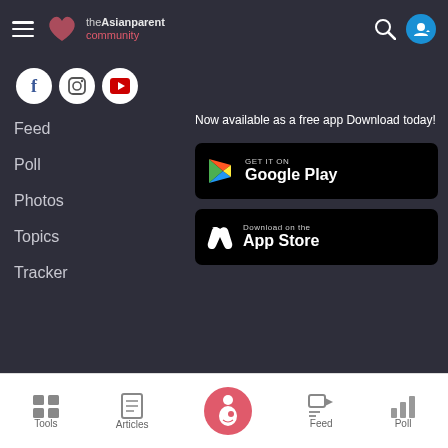[Figure (screenshot): theAsianparent community app navigation page showing top bar with hamburger menu, logo, search and user icons; social media buttons (Facebook, Instagram, YouTube); left navigation menu with Feed, Poll, Photos, Topics, Tracker; right section with app download prompt and Google Play and App Store buttons; bottom navigation bar with Tools, Articles, center pregnancy icon, Feed, Poll]
Now available as a free app Download today!
Feed
Poll
Photos
Topics
Tracker
Tools  Articles  Feed  Poll